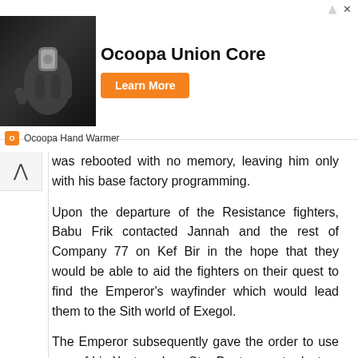[Figure (photo): Advertisement for Ocoopa Union Core hand warmer. Shows a hand holding a small device against a dark background. Ad includes 'Ocoopa Union Core' title text, an orange 'Learn More' button, and 'Ocoopa Hand Warmer' footer label with orange logo icon.]
was rebooted with no memory, leaving him only with his base factory programming.
Upon the departure of the Resistance fighters, Babu Frik contacted Jannah and the rest of Company 77 on Kef Bir in the hope that they would be able to aid the fighters on their quest to find the Emperor's wayfinder which would lead them to the Sith world of Exegol.
The Emperor subsequently gave the order to use one of his Xyston-class Star Destroyers to destroy Kijimi. The snow-covered planet was obliterated by the Star Destroyer's axial